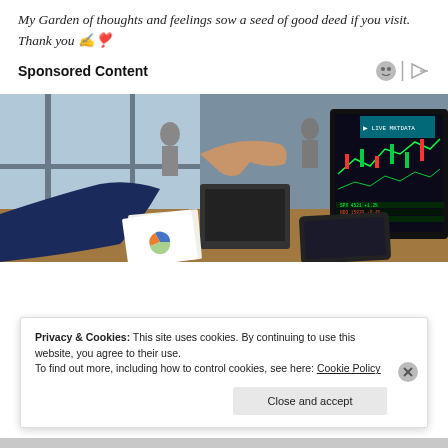My Garden of thoughts and feelings sow a seed of good deed if you visit. Thank you ✍️❣️
Sponsored Content
[Figure (photo): A businessman in a suit gesturing toward stock market trading screens showing candlestick charts and financial data, with a laptop and tablet on a desk.]
Privacy & Cookies: This site uses cookies. By continuing to use this website, you agree to their use.
To find out more, including how to control cookies, see here: Cookie Policy